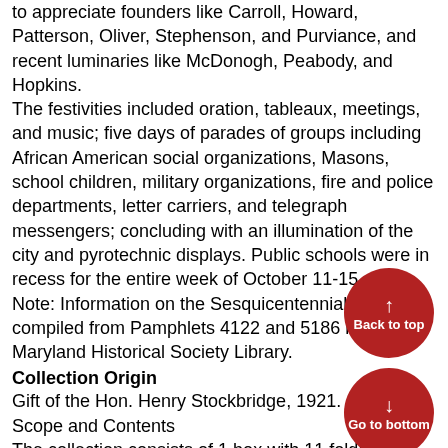to appreciate founders like Carroll, Howard, Patterson, Oliver, Stephenson, and Purviance, and recent luminaries like McDonogh, Peabody, and Hopkins.
The festivities included oration, tableaux, meetings, and music; five days of parades of groups including African American social organizations, Masons, school children, military organizations, fire and police departments, letter carriers, and telegraph messengers; concluding with an illumination of the city and pyrotechnic displays. Public schools were in recess for the entire week of October 11-15.
Note: Information on the Sesquicentennial was compiled from Pamphlets 4122 and 5186 in the Maryland Historical Society Library.
Collection Origin
Gift of the Hon. Henry Stockbridge, 1921.
Scope and Contents
The collection consists of 1 box with 11 folders containing ca. 40 photo-prints of the Sesquicentennial celebrations made in 1880. Views are primarily Baltimore city streets with monuments, hotels, stores, and business